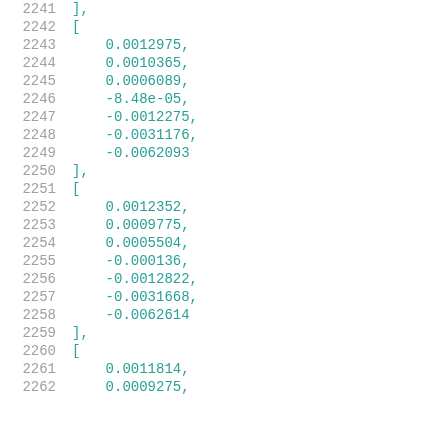Code listing lines 2241-2262 showing nested array data with floating point values